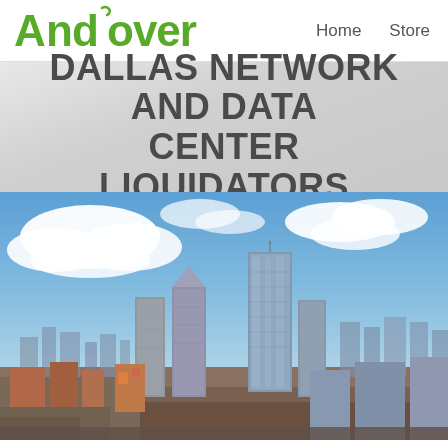Andover | Home | Store
DALLAS NETWORK AND DATA CENTER LIQUIDATORS
[Figure (photo): Aerial photograph of the Dallas, Texas skyline with tall skyscrapers, dramatic cloudy blue sky, and urban cityscape below.]